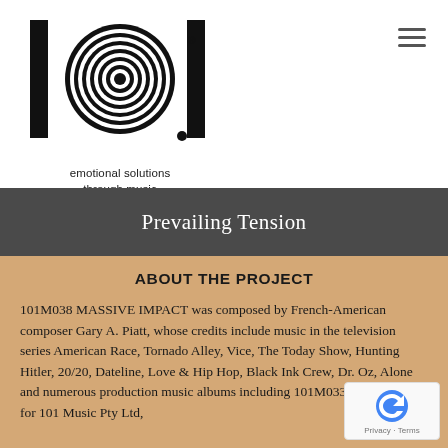[Figure (logo): 101 logo with concentric circles forming the '0' digit, bold numerals '1', '0', '1', with registered trademark symbol, and tagline 'emotional solutions through music']
Prevailing Tension
ABOUT THE PROJECT
101M038 MASSIVE IMPACT was composed by French-American composer Gary A. Piatt, whose credits include music in the television series American Race, Tornado Alley, Vice, The Today Show, Hunting Hitler, 20/20, Dateline, Love & Hip Hop, Black Ink Crew, Dr. Oz, Alone and numerous production music albums including 101M033 Urban Drama for 101 Music Pty Ltd,